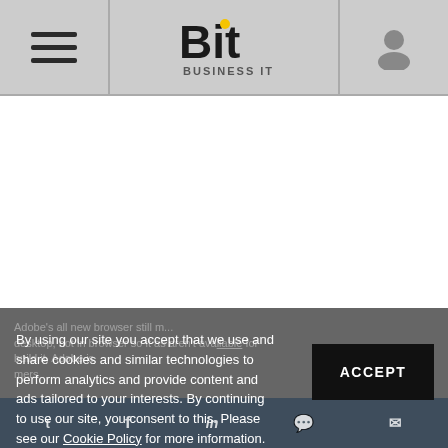Bit Business IT
[Figure (screenshot): White content area placeholder for article/ad content]
By using our site you accept that we use and share cookies and similar technologies to perform analytics and provide content and ads tailored to your interests. By continuing to use our site, you consent to this. Please see our Cookie Policy for more information.